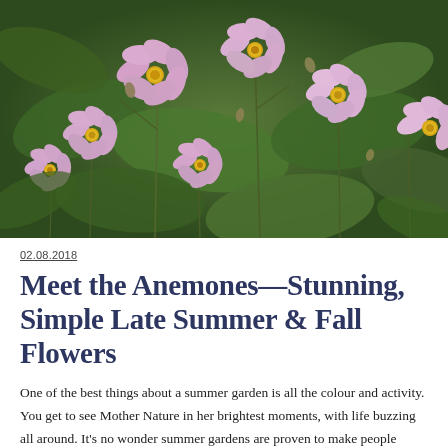[Figure (photo): Close-up photograph of pink anemone flowers with yellow centers against a green leafy background. Multiple blooms at various stages, with thin stems and buds visible.]
02.08.2018
Meet the Anemones—Stunning, Simple Late Summer & Fall Flowers
One of the best things about a summer garden is all the colour and activity. You get to see Mother Nature in her brightest moments, with life buzzing all around. It's no wonder summer gardens are proven to make people happier! If